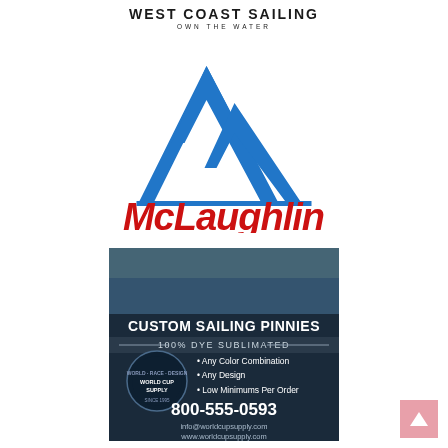[Figure (logo): West Coast Sailing logo with text 'WEST COAST SAILING' and tagline 'OWN THE WATER']
[Figure (logo): McLaughlin logo — blue triangular mountain/sail shapes above red italic 'McLaughlin' wordmark]
[Figure (infographic): World Cup Supply advertisement for Custom Sailing Pinnies — 100% Dye Sublimated. Features photo of sailors, bullet points: Any Color Combination, Any Design, Low Minimums Per Order. Phone: 800-555-0593. Email: info@worldcupsupply.com. Website: www.worldcupsupply.com]